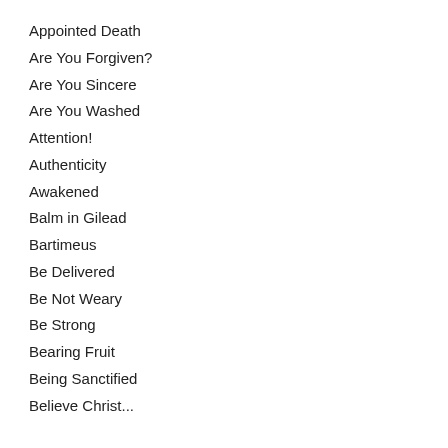Appointed Death
Are You Forgiven?
Are You Sincere
Are You Washed
Attention!
Authenticity
Awakened
Balm in Gilead
Bartimeus
Be Delivered
Be Not Weary
Be Strong
Bearing Fruit
Being Sanctified
Believe Christ...